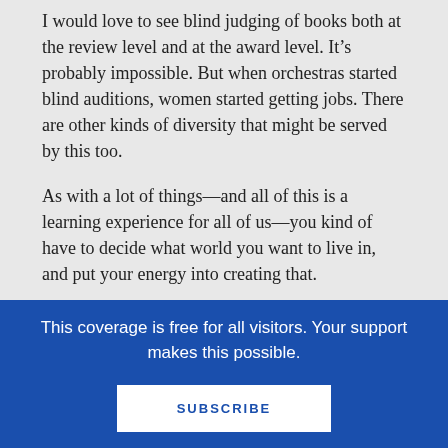I would love to see blind judging of books both at the review level and at the award level. It’s probably impossible. But when orchestras started blind auditions, women started getting jobs. There are other kinds of diversity that might be served by this too.
As with a lot of things—and all of this is a learning experience for all of us—you kind of have to decide what world you want to live in, and put your energy into creating that.
I think it would serve us all well and the kids we are working for to stop talking about each other in terms of…
This coverage is free for all visitors. Your support makes this possible.
SUBSCRIBE